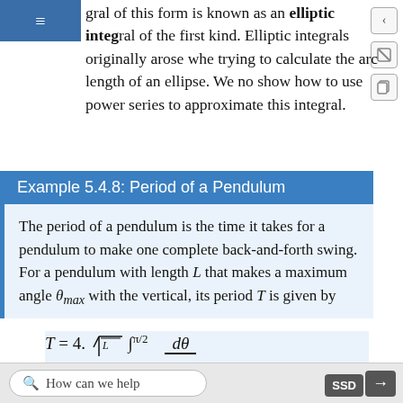gral of this form is known as an elliptic integral of the first kind. Elliptic integrals originally arose when trying to calculate the arc length of an ellipse. We now show how to use power series to approximate this integral.
Example 5.4.8: Period of a Pendulum
The period of a pendulum is the time it takes for a pendulum to make one complete back-and-forth swing. For a pendulum with length L that makes a maximum angle θ_max with the vertical, its period T is given by
How can we help